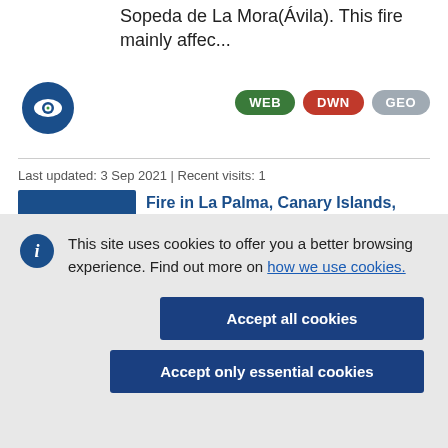Sopeda de La Mora (Ávila). This fire mainly affec...
Last updated: 3 Sep 2021 | Recent visits: 1
Fire in La Palma, Canary Islands,
This site uses cookies to offer you a better browsing experience. Find out more on how we use cookies.
Accept all cookies
Accept only essential cookies